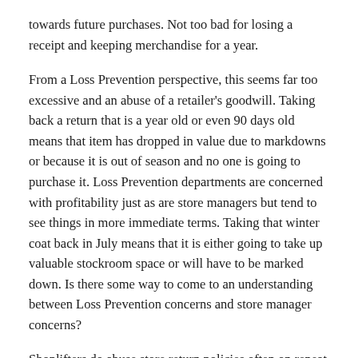towards future purchases. Not too bad for losing a receipt and keeping merchandise for a year.
From a Loss Prevention perspective, this seems far too excessive and an abuse of a retailer's goodwill. Taking back a return that is a year old or even 90 days old means that item has dropped in value due to markdowns or because it is out of season and no one is going to purchase it. Loss Prevention departments are concerned with profitability just as are store managers but tend to see things in more immediate terms. Taking that winter coat back in July means that it is either going to take up valuable stockroom space or will have to be marked down. Is there some way to come to an understanding between Loss Prevention concerns and store manager concerns?
Shoplifters do abuse store return policies often on repeat occasions. A May 14, 2018 article by journaltimes.com staff, "Racine woman charged for Walmart thefts", reported on a woman who was caught on camera entering a Walmart store, selecting an airbed and taking it to the return desk and receiving a gift card. She was caught on camera committing the same type of theft about three weeks later at the same store. The story reported that the suspect had a history of shoplifting